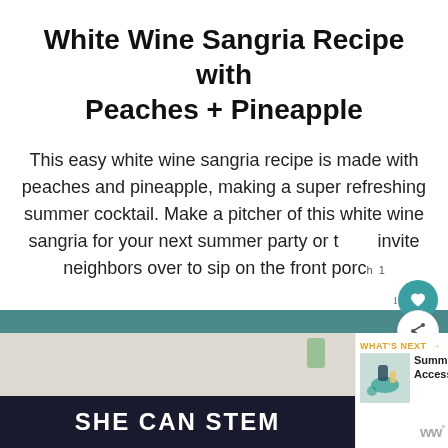White Wine Sangria Recipe with Peaches + Pineapple
This easy white wine sangria recipe is made with peaches and pineapple, making a super refreshing summer cocktail. Make a pitcher of this white wine sangria for your next summer party or to invite neighbors over to sip on the front porch
READ MORE
[Figure (screenshot): Bottom section showing a partial food photo with a dark banner reading 'SHE CAN STEM', a 'WHAT'S NEXT' panel with Summer Accessories thumbnail, and a WW logo.]